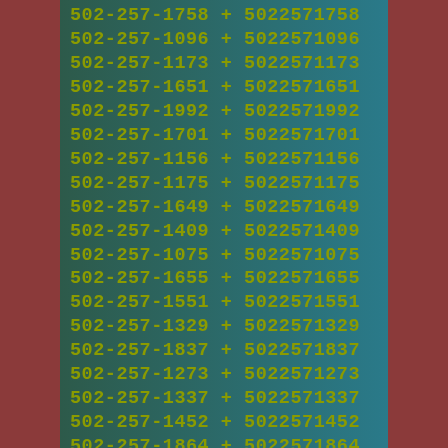502-257-1758 + 5022571758
502-257-1096 + 5022571096
502-257-1173 + 5022571173
502-257-1651 + 5022571651
502-257-1992 + 5022571992
502-257-1701 + 5022571701
502-257-1156 + 5022571156
502-257-1175 + 5022571175
502-257-1649 + 5022571649
502-257-1409 + 5022571409
502-257-1075 + 5022571075
502-257-1655 + 5022571655
502-257-1551 + 5022571551
502-257-1329 + 5022571329
502-257-1837 + 5022571837
502-257-1273 + 5022571273
502-257-1337 + 5022571337
502-257-1452 + 5022571452
502-257-1864 + 5022571864
502-257-1826 + 5022571826
502-257-1860 + 5022571860
502-257-1068 + 5022571068
502-257-1???